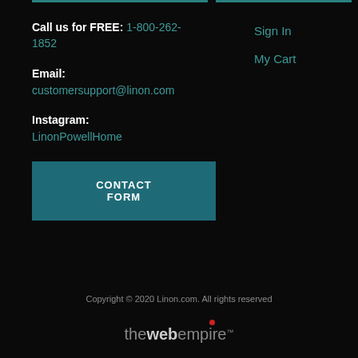Call us for FREE: 1-800-262-1852
Sign In
My Cart
Email:
customersupport@linon.com
Instagram:
LinonPowellHome
CONTACT FORM
Copyright © 2020 Linon.com. All rights reserved
[Figure (logo): thewebempire logo with red dot above the 'i' in empire]